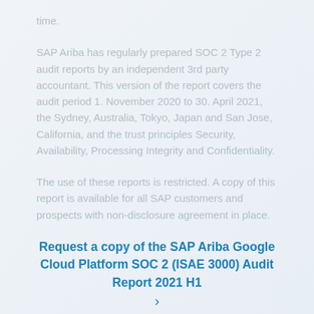time.
SAP Ariba has regularly prepared SOC 2 Type 2 audit reports by an independent 3rd party accountant. This version of the report covers the audit period 1. November 2020 to 30. April 2021, the Sydney, Australia, Tokyo, Japan and San Jose, California, and the trust principles Security, Availability, Processing Integrity and Confidentiality.
The use of these reports is restricted. A copy of this report is available for all SAP customers and prospects with non-disclosure agreement in place.
Request a copy of the SAP Ariba Google Cloud Platform SOC 2 (ISAE 3000) Audit Report 2021 H1 ›